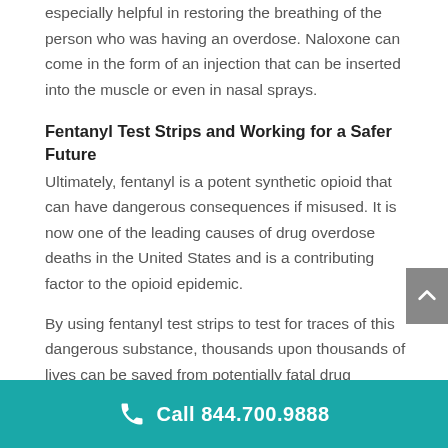especially helpful in restoring the breathing of the person who was having an overdose. Naloxone can come in the form of an injection that can be inserted into the muscle or even in nasal sprays.
Fentanyl Test Strips and Working for a Safer Future
Ultimately, fentanyl is a potent synthetic opioid that can have dangerous consequences if misused. It is now one of the leading causes of drug overdose deaths in the United States and is a contributing factor to the opioid epidemic.
By using fentanyl test strips to test for traces of this dangerous substance, thousands upon thousands of lives can be saved from potentially fatal drug overdoses. These fentanyl test strips are an innovative and inexpensive way for anyone to test a
Call 844.700.9888